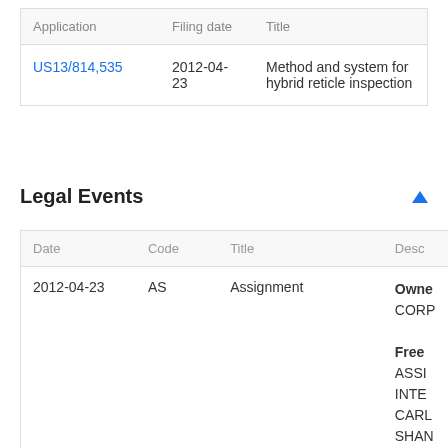| Application | Filing date | Title |
| --- | --- | --- |
| US13/814,535 | 2012-04-23 | Method and system for hybrid reticle inspection |
Legal Events
| Date | Code | Title | Desc |
| --- | --- | --- | --- |
| 2012-04-23 | AS | Assignment | Owner: CORP
Free
ASSI
INTE
CARL
SHAN
FROM
2012 |
| 2013-02-06 | AS | Assignment | Owner: CORP
Free
ASSI |